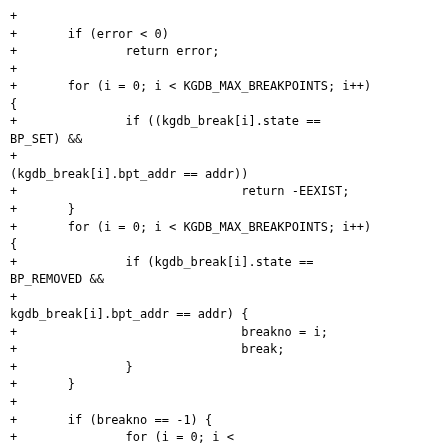+
+       if (error < 0)
+               return error;
+
+       for (i = 0; i < KGDB_MAX_BREAKPOINTS; i++) {
+               if ((kgdb_break[i].state ==
BP_SET) &&
+
(kgdb_break[i].bpt_addr == addr))
+                               return -EEXIST;
+       }
+       for (i = 0; i < KGDB_MAX_BREAKPOINTS; i++) {
+               if (kgdb_break[i].state ==
BP_REMOVED &&
+
kgdb_break[i].bpt_addr == addr) {
+                               breakno = i;
+                               break;
+               }
+       }
+
+       if (breakno == -1) {
+               for (i = 0; i <
KGDB_MAX_BREAKPOINTS; i++) {
+                               if (kgdb_break[i].state ==
BP_UNDEFINED) {
+                                       breakno = i;
+                                       break;